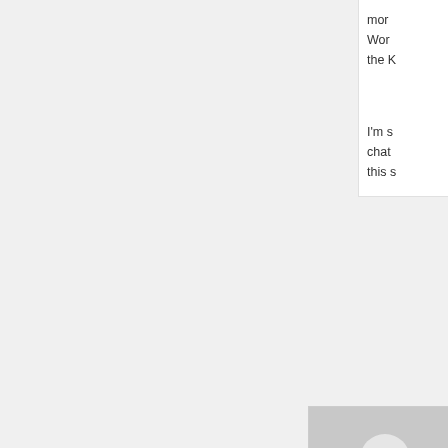mor... Wor... the K...
I'm s... chat... this s...
[Figure (photo): Generic user avatar placeholder - grey silhouette on light grey background]
Don... p,ais... read...
back to top
[Figure (photo): Photo of a man with reddish beard and glasses, outdoors with trees in background]
Matth... well...
Keep... begi...
Pete...